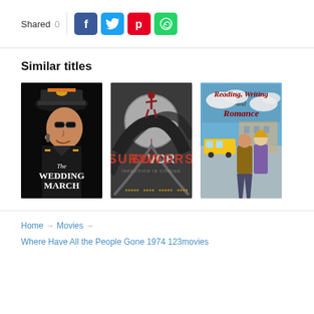Shared 0
[Figure (screenshot): Social share buttons: Facebook (blue), Twitter (light blue), Pinterest (red), WhatsApp (green)]
Similar titles
[Figure (illustration): Movie poster: The Wedding March - dark background with illustrated soldier in military hat]
[Figure (illustration): Movie poster: Survivors - Infection is Coming - dark grey background with silhouette figure on top]
[Figure (illustration): Movie poster: Reading, Writing and Romance - outdoor scene with man and woman]
Home → Movies →
Where Have All the People Gone 1974 123movies